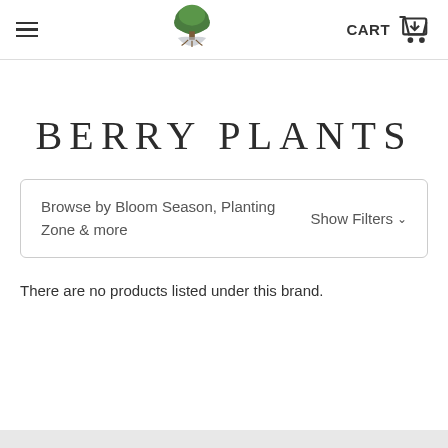CART [hamburger menu] [logo] [cart icon]
BERRY PLANTS
Browse by Bloom Season, Planting Zone & more   Show Filters ∨
There are no products listed under this brand.